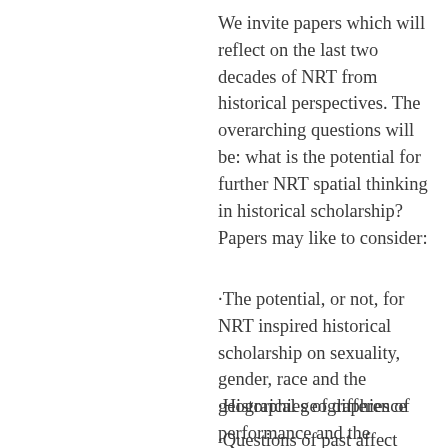We invite papers which will reflect on the last two decades of NRT from historical perspectives. The overarching questions will be: what is the potential for further NRT spatial thinking in historical scholarship? Papers may like to consider:
·The potential, or not, for NRT inspired historical scholarship on sexuality, gender, race and the geographies of difference
·Historical geographies of performance and the sensory
·Questions of past affect